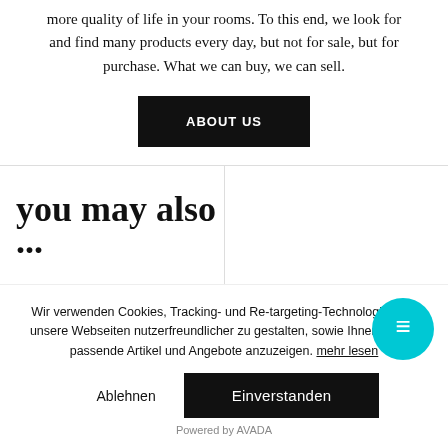more quality of life in your rooms. To this end, we look for and find many products every day, but not for sale, but for purchase. What we can buy, we can sell.
ABOUT US
you may also ...
Wir verwenden Cookies, Tracking- und Re-targeting-Technologien um unsere Webseiten nutzerfreundlicher zu gestalten, sowie Ihnen für Sie passende Artikel und Angebote anzuzeigen. mehr lesen
Ablehnen
Einverstanden
Powered by AVADA